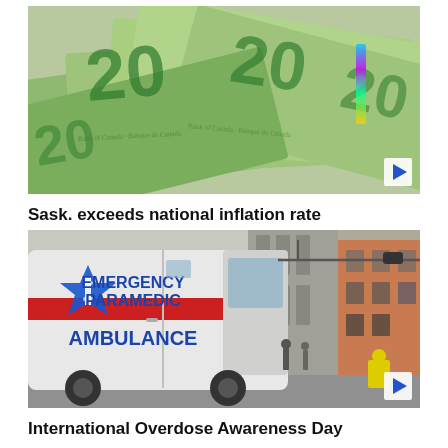[Figure (photo): Canadian $20 bills spread out, showing green banknotes with the number 20 visible]
Sask. exceeds national inflation rate
[Figure (photo): Emergency Paramedic Ambulance parked in an urban alley with brick buildings and people in the background]
International Overdose Awareness Day